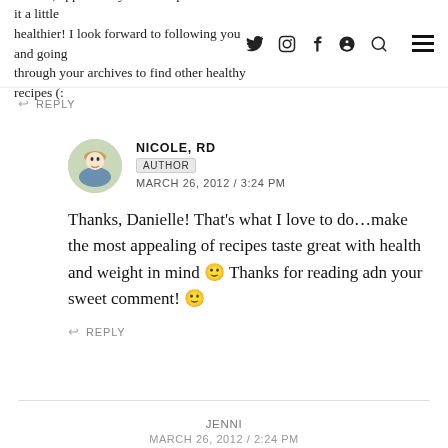for one, appreciate your attempts to make it a little healthier! I look forward to following you and going through your archives to find other healthy recipes (:
REPLY
NICOLE, RD
AUTHOR
MARCH 26, 2012 / 3:24 PM
Thanks, Danielle! That's what I love to do…make the most appealing of recipes taste great with health and weight in mind 🙂 Thanks for reading adn your sweet comment! 🙂
REPLY
JENNI
MARCH 26, 2012 / 2:24 PM